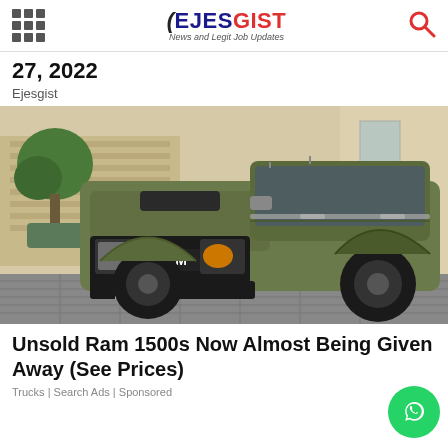EJESGIST News and Legit Job Updates
27, 2022
Ejesgist
[Figure (photo): Matte olive green RAM 1500 TRX pickup truck photographed from front-left angle in a driveway, with topiary trees and garage door in background]
Unsold Ram 1500s Now Almost Being Given Away (See Prices)
Trucks | Search Ads | Sponsored